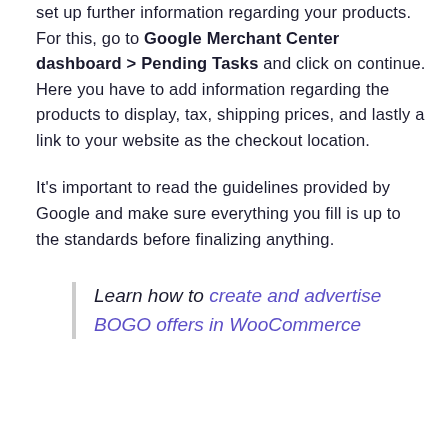set up further information regarding your products. For this, go to Google Merchant Center dashboard > Pending Tasks and click on continue. Here you have to add information regarding the products to display, tax, shipping prices, and lastly a link to your website as the checkout location.
It's important to read the guidelines provided by Google and make sure everything you fill is up to the standards before finalizing anything.
Learn how to create and advertise BOGO offers in WooCommerce